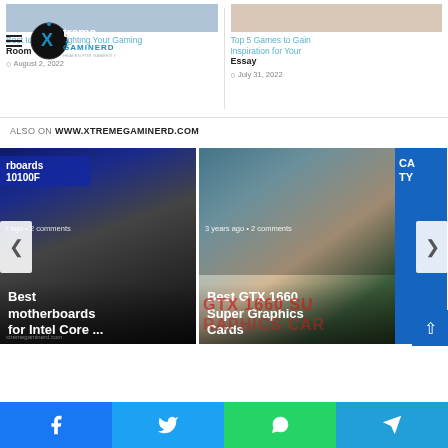[Figure (screenshot): Top article thumbnail images and titles: left card - 'Best Ideas for Lighting Your Gaming Room' dated August 2, 2022; right card - 'Top 5 Games to Gain Inspiration for Your Essay' dated July 31, 2022. Xtreme Gaminerd logo and hamburger menu overlaid.]
ALSO ON WWW.XTREMEGAMINERD.COM
[Figure (screenshot): Carousel showing: 1) Best motherboards for Intel Core ... with motherboard hardware image, 2) Best GTX 1660 Super Graphics Cards with GPU image, 3) partial third card. Left arrow and right arrow navigation buttons visible.]
[Figure (screenshot): Social share bar at bottom: Facebook (blue), Twitter (light blue), WhatsApp (green), Telegram (blue) buttons.]